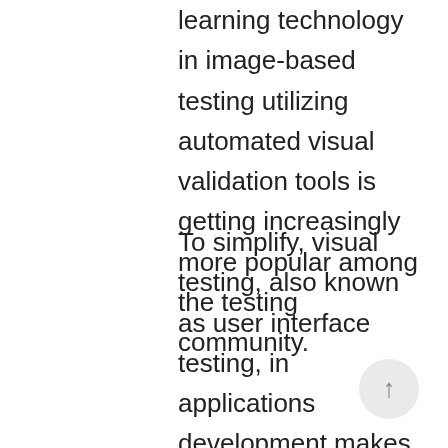learning technology in image-based testing utilizing automated visual validation tools is getting increasingly more popular among the testing community.
To simplify, visual testing, also known as user interface testing, in applications development makes sure that the UI of their internet or mobile application they're building seems to the end-user as it was initially intended. It is mostly mistaken with conventional or operational testing applications which were created to aid developers with the performance of the